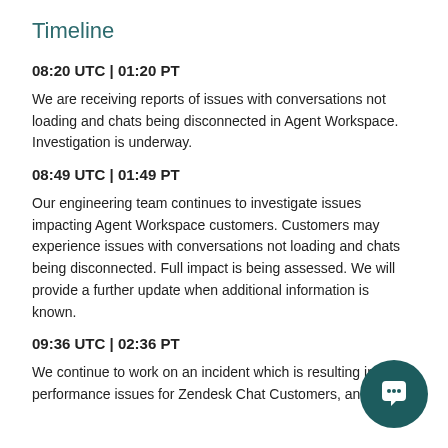Timeline
08:20 UTC | 01:20 PT
We are receiving reports of issues with conversations not loading and chats being disconnected in Agent Workspace. Investigation is underway.
08:49 UTC | 01:49 PT
Our engineering team continues to investigate issues impacting Agent Workspace customers. Customers may experience issues with conversations not loading and chats being disconnected. Full impact is being assessed. We will provide a further update when additional information is known.
09:36 UTC | 02:36 PT
We continue to work on an incident which is resulting in performance issues for Zendesk Chat Customers, and